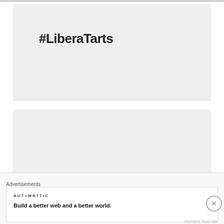#LiberaTarts
@LiberaTarts
[Figure (photo): Green trees with sunlight filtering through leaves]
[Figure (photo): Card or note with hashtag text in red/dark font]
Advertisements
AUTOMATTIC
Build a better web and a better world.